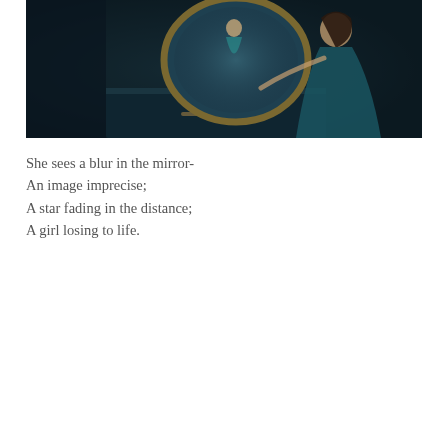[Figure (illustration): Dark fantasy illustration of a woman in a teal gown looking into an ornate oval mirror on a dresser, her reflection showing a different figure; dark blue-teal atmospheric mood.]
She sees a blur in the mirror-
An image imprecise;
A star fading in the distance;
A girl losing to life.
Privacy & Cookies: This site uses cookies. By continuing to use this website, you agree to their use.
To find out more, including how to control cookies, see here: Cookie Policy